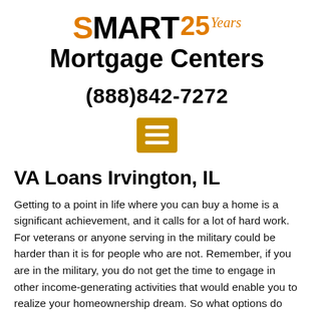[Figure (logo): Smart Mortgage Centers logo with orange S, black MART, orange 25 and orange italic Years text, followed by Mortgage Centers in bold black]
(888)842-7272
[Figure (other): Orange hamburger menu icon with three white horizontal bars]
VA Loans Irvington, IL
Getting to a point in life where you can buy a home is a significant achievement, and it calls for a lot of hard work. For veterans or anyone serving in the military could be harder than it is for people who are not. Remember, if you are in the military, you do not get the time to engage in other income-generating activities that would enable you to realize your homeownership dream. So what options do